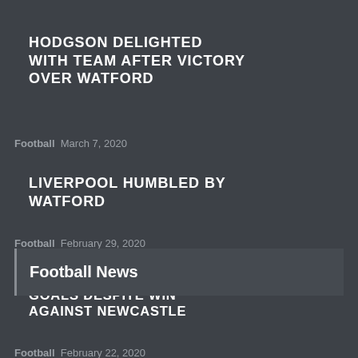HODGSON DELIGHTED WITH TEAM AFTER VICTORY OVER WATFORD
Football  March 7, 2020
LIVERPOOL HUMBLED BY WATFORD
Football  February 29, 2020
HODGSON WANTS MORE GOALS DESPITE WIN AGAINST NEWCASTLE
Football  February 22, 2020
Football News